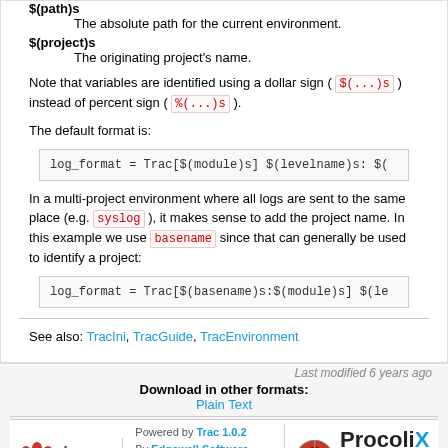$(path)s - The absolute path for the current environment.
$(project)s - The originating project's name.
Note that variables are identified using a dollar sign ( $(...)s ) instead of percent sign ( %(...)s ).
The default format is:
log_format = Trac[$(module)s] $(levelname)s: $(
In a multi-project environment where all logs are sent to the same place (e.g. syslog ), it makes sense to add the project name. In this example we use basename since that can generally be used to identify a project:
log_format = Trac[$(basename)s:$(module)s] $(le
See also: TracIni, TracGuide, TracEnvironment
Last modified 6 years ago
Download in other formats:
Plain Text
Powered by Trac 1.0.2 By Edgewall Software. Hosting and support by ProcoliX | Report an IP problem